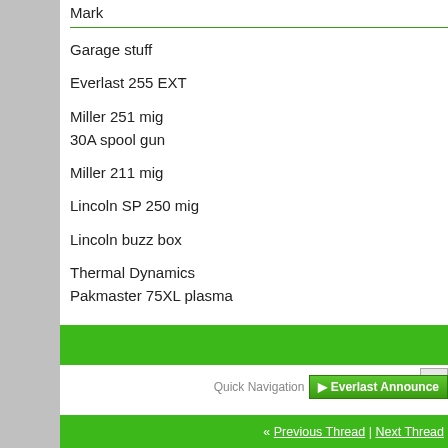Mark
Garage stuff
Everlast 255 EXT
Miller 251 mig
30A spool gun
Miller 211 mig
Lincoln SP 250 mig
Lincoln buzz box
Thermal Dynamics
Pakmaster 75XL plasma
Quick Navigation   Everlast Announce
« Previous Thread | Next Thread